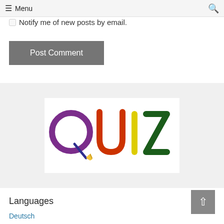≡ Menu
☐ Notify me of new posts by email.
Post Comment
[Figure (illustration): Colorful hand-drawn style QUIZ text logo: Q in purple, U in orange-red, I in yellow with pencil graphic, Z in dark green, on white background]
Languages
Deutsch
Dansk
English